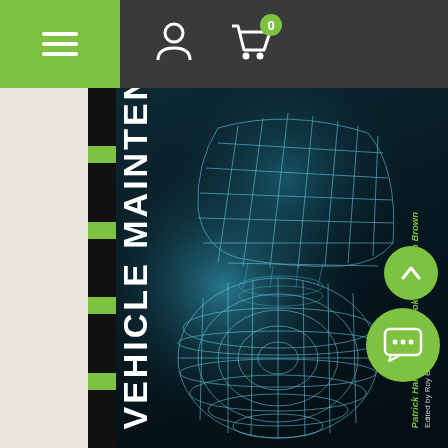[Figure (screenshot): Mobile app navigation bar with green hamburger menu area on left, person icon and shopping cart icon with badge showing 0 on dark grey background]
[Figure (photo): Book cover: 'VEHICLE MAINTENANCE AND RE[PAIR]' — dark background with cyan wireframe 3D mesh rendering of mechanical/automotive components. Authors: Patrick Hamilton, John Rooke and Julian Brown. Edited by Roy Brooks.]